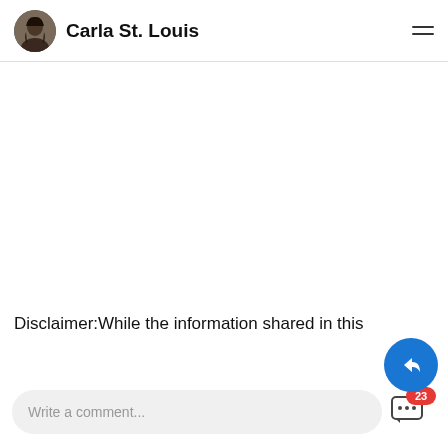Carla St. Louis
[Figure (other): Blank white main content area of a webpage]
Disclaimer:While the information shared in this
Write a comment...
23